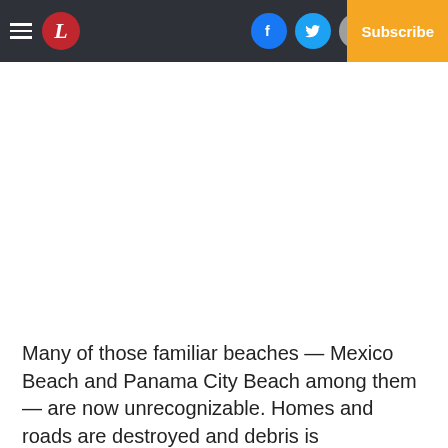L | [Facebook] [Twitter] [Mail] Log In | Subscribe
Many of those familiar beaches — Mexico Beach and Panama City Beach among them — are now unrecognizable. Homes and roads are destroyed and debris is everywhere.